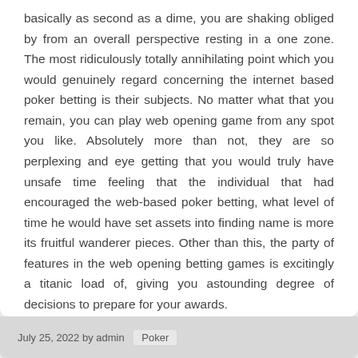basically as second as a dime, you are shaking obliged by from an overall perspective resting in a one zone. The most ridiculously totally annihilating point which you would genuinely regard concerning the internet based poker betting is their subjects. No matter what that you remain, you can play web opening game from any spot you like. Absolutely more than not, they are so perplexing and eye getting that you would truly have unsafe time feeling that the individual that had encouraged the web-based poker betting, what level of time he would have set assets into finding name is more its fruitful wanderer pieces. Other than this, the party of features in the web opening betting games is excitingly a titanic load of, giving you astounding degree of decisions to prepare for your awards.
July 25, 2022 by admin  Poker